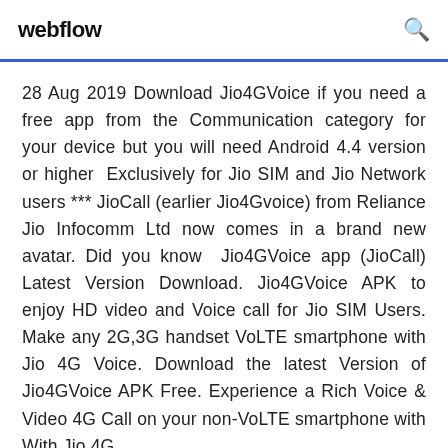webflow
28 Aug 2019 Download Jio4GVoice if you need a free app from the Communication category for your device but you will need Android 4.4 version or higher  Exclusively for Jio SIM and Jio Network users *** JioCall (earlier Jio4Gvoice) from Reliance Jio Infocomm Ltd now comes in a brand new avatar. Did you know  Jio4GVoice app (JioCall) Latest Version Download. Jio4GVoice APK to enjoy HD video and Voice call for Jio SIM Users. Make any 2G,3G handset VoLTE smartphone with Jio 4G Voice. Download the latest Version of Jio4GVoice APK Free. Experience a Rich Voice & Video 4G Call on your non-VoLTE smartphone with With Jio 4G